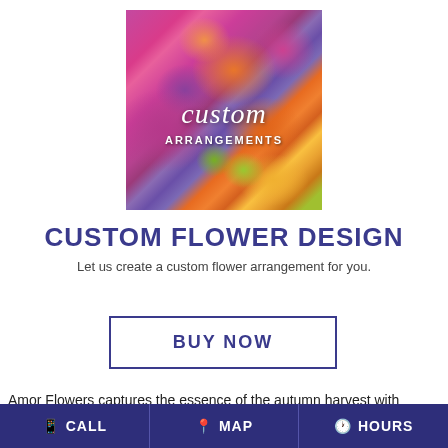[Figure (photo): Custom flower arrangements photo showing orange roses, purple flowers, green berries, and yellow accents with text overlay reading 'custom ARRANGEMENTS']
CUSTOM FLOWER DESIGN
Let us create a custom flower arrangement for you.
BUY NOW
Amor Flowers captures the essence of the autumn harvest with
CALL   MAP   HOURS